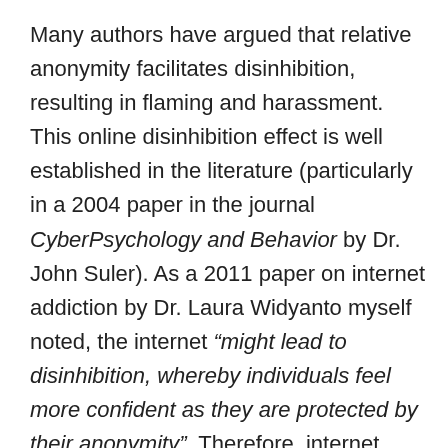Many authors have argued that relative anonymity facilitates disinhibition, resulting in flaming and harassment. This online disinhibition effect is well established in the literature (particularly in a 2004 paper in the journal CyberPsychology and Behavior by Dr. John Suler). As a 2011 paper on internet addiction by Dr. Laura Widyanto myself noted, the internet “might lead to disinhibition, whereby individuals feel more confident as they are protected by their anonymity”. Therefore, internet users have an opportunity to present themselves differently online. From this, the opportunity for trolling is undeniably present as Widyanto and myself make clear, “the internet provides anonymity, which removes the threat of confrontation, rejection and other consequences of behaviour”. This allows individuals to behave online in